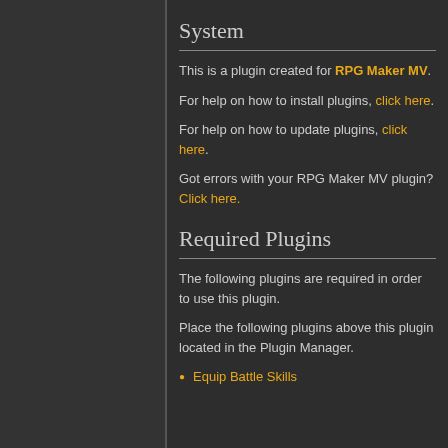System
This is a plugin created for RPG Maker MV.
For help on how to install plugins, click here.
For help on how to update plugins, click here.
Got errors with your RPG Maker MV plugin? Click here.
Required Plugins
The following plugins are required in order to use this plugin.
Place the following plugins above this plugin located in the Plugin Manager.
Equip Battle Skills